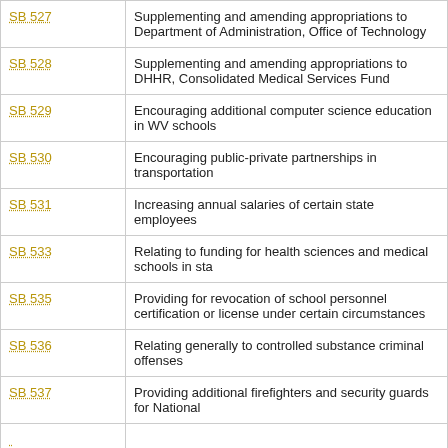| Bill | Description |
| --- | --- |
| SB 527 | Supplementing and amending appropriations to Department of Administration, Office of Technology |
| SB 528 | Supplementing and amending appropriations to DHHR, Consolidated Medical Services Fund |
| SB 529 | Encouraging additional computer science education in WV schools |
| SB 530 | Encouraging public-private partnerships in transportation |
| SB 531 | Increasing annual salaries of certain state employees |
| SB 533 | Relating to funding for health sciences and medical schools in state |
| SB 535 | Providing for revocation of school personnel certification or license under certain circumstances |
| SB 536 | Relating generally to controlled substance criminal offenses |
| SB 537 | Providing additional firefighters and security guards for National |